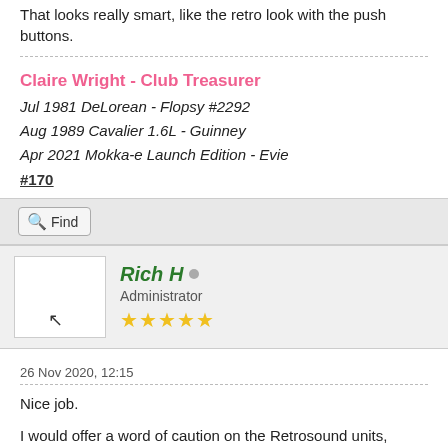That looks really smart, like the retro look with the push buttons.
Claire Wright  - Club Treasurer
Jul 1981 DeLorean - Flopsy #2292
Aug 1989 Cavalier 1.6L - Guinney
Apr 2021 Mokka-e Launch Edition - Evie
#170
Find
Rich H
Administrator
★★★★★
26 Nov 2020, 12:15
Nice job.
I would offer a word of caution on the Retrosound units, based on per
I had one for about four years in my D when is started to crap out.
That's not exactly great to begin with, but when you consider an aver